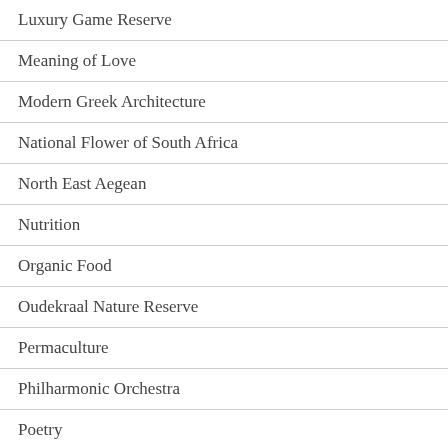Luxury Game Reserve
Meaning of Love
Modern Greek Architecture
National Flower of South Africa
North East Aegean
Nutrition
Organic Food
Oudekraal Nature Reserve
Permaculture
Philharmonic Orchestra
Poetry